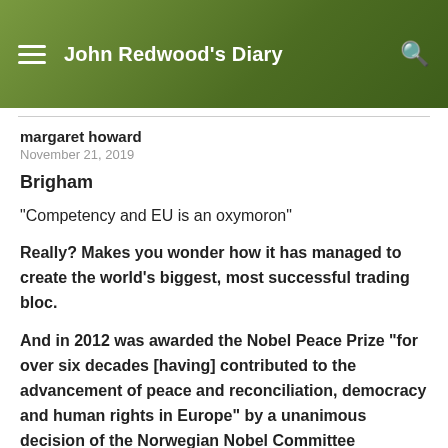John Redwood's Diary
margaret howard
November 21, 2019
Brigham
“Competency and EU is an oxymoron”
Really? Makes you wonder how it has managed to create the world’s biggest, most successful trading bloc.
And in 2012 was awarded the Nobel Peace Prize “for over six decades [having] contributed to the advancement of peace and reconciliation, democracy and human rights in Europe” by a unanimous decision of the Norwegian Nobel Committee